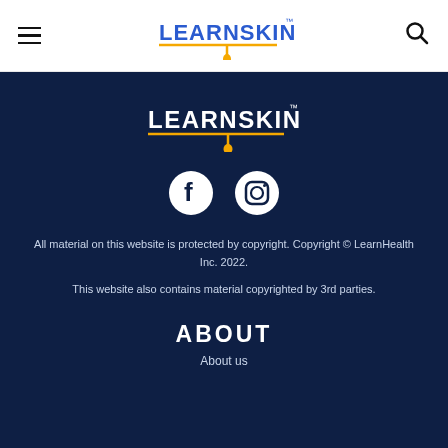[Figure (logo): LearnSkin logo in header - blue text with orange dropper graphic underneath]
[Figure (logo): LearnSkin logo in dark navy footer area - white text with dropper graphic]
[Figure (illustration): Facebook and Instagram social media icons in white on dark background]
All material on this website is protected by copyright. Copyright © LearnHealth Inc. 2022.
This website also contains material copyrighted by 3rd parties.
ABOUT
About us